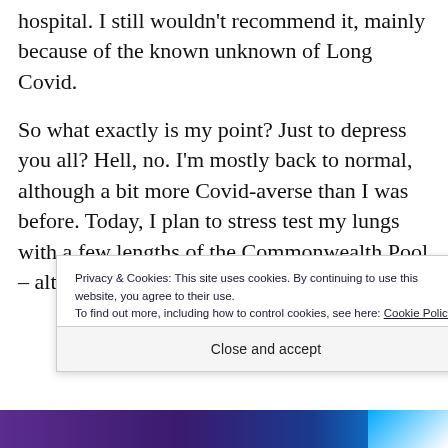hospital. I still wouldn't recommend it, mainly because of the known unknown of Long Covid.
So what exactly is my point? Just to depress you all? Hell, no. I'm mostly back to normal, although a bit more Covid-averse than I was before. Today, I plan to stress test my lungs with a few lengths of the Commonwealth Pool – although maybe not my regular 30. My main
Privacy & Cookies: This site uses cookies. By continuing to use this website, you agree to their use.
To find out more, including how to control cookies, see here: Cookie Policy
Close and accept